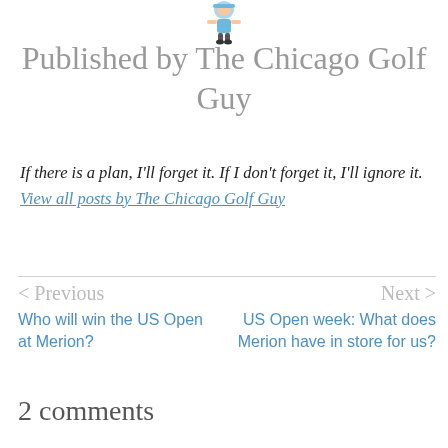[Figure (illustration): Small cartoon golf character avatar at the top center]
Published by The Chicago Golf Guy
If there is a plan, I'll forget it. If I don't forget it, I'll ignore it. View all posts by The Chicago Golf Guy
< Previous  Who will win the US Open at Merion?
Next >  US Open week: What does Merion have in store for us?
2 comments